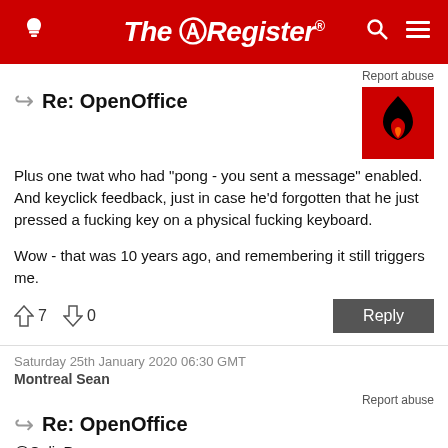The Register
Report abuse
Re: OpenOffice
Plus one twat who had "pong - you sent a message" enabled. And keyclick feedback, just in case he'd forgotten that he just pressed a fucking key on a physical fucking keyboard.

Wow - that was 10 years ago, and remembering it still triggers me.
↑7  ↓0
Saturday 25th January 2020 06:30 GMT
Montreal Sean
Report abuse
Re: OpenOffice
@ColinPa